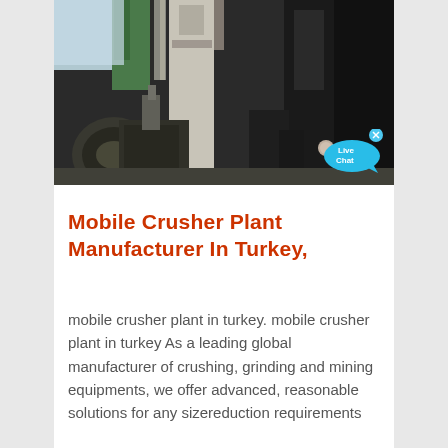[Figure (photo): Industrial machinery photo showing crusher plant equipment — large metal cylinders, pipes, and industrial components in an outdoor industrial setting with daylight visible in background. A Live Chat button overlay appears in the bottom right corner of the image.]
Mobile Crusher Plant Manufacturer In Turkey,
mobile crusher plant in turkey. mobile crusher plant in turkey As a leading global manufacturer of crushing, grinding and mining equipments, we offer advanced, reasonable solutions for any sizereduction requirements